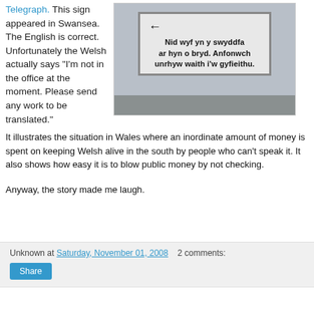Telegraph. This sign appeared in Swansea. The English is correct. Unfortunately the Welsh actually says "I'm not in the office at the moment. Please send any work to be translated."
[Figure (photo): Photo of a bilingual road sign in Swansea showing Welsh text 'Nid wyf yn y swyddfa ar hyn o bryd. Anfonwch unrhyw waith i'w gyfieithu.' with an arrow pointing left, mounted on poles against a concrete wall.]
It illustrates the situation in Wales where an inordinate amount of money is spent on keeping Welsh alive in the south by people who can't speak it. It also shows how easy it is to blow public money by not checking.
Anyway, the story made me laugh.
Unknown at Saturday, November 01, 2008   2 comments:
Share